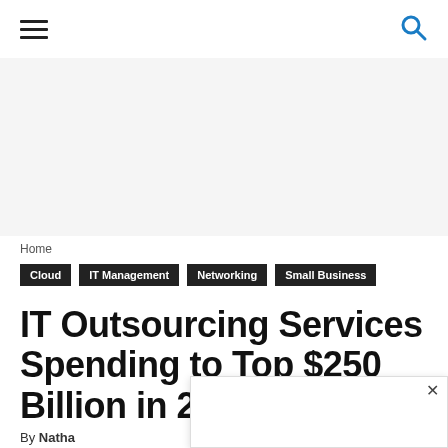≡  🔍
[Figure (other): Advertisement / blank gray area]
Home
Cloud  IT Management  Networking  Small Business
IT Outsourcing Services Spending to Top $250 Billion in 2
By Natha